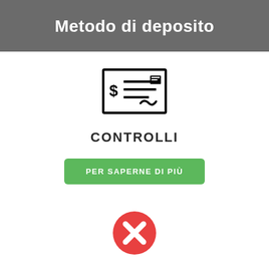Metodo di deposito
[Figure (illustration): Check/cheque icon showing a document with dollar sign and lines]
CONTROLLI
PER SAPERNE DI PIÙ
[Figure (illustration): Red circle with white X mark inside]
Non disponibile